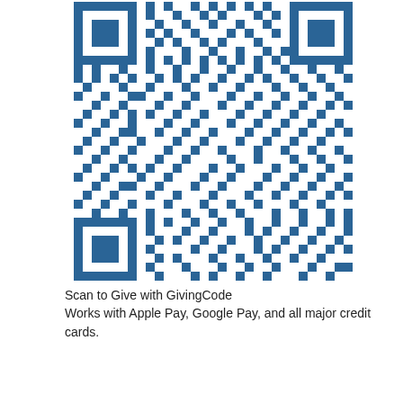[Figure (other): QR code for GivingCode donation in blue and white]
Scan to Give with GivingCode
Works with Apple Pay, Google Pay, and all major credit cards.